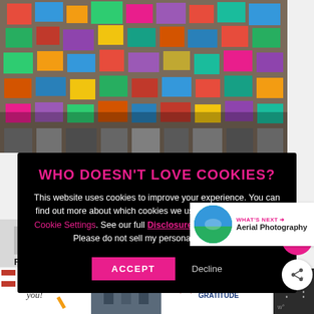[Figure (photo): Aerial photograph of colorful rooftops of a dense urban neighborhood, viewed from above]
WHO DOESN'T LOVE COOKIES?
This website uses cookies to improve your experience. You can find out more about which cookies we use or switch them off in Cookie Settings. See our full Disclosure & Privacy Policy. Please do not sell my personal information.
ACCEPT  Decline
[Figure (photo): Aerial photography - What's next thumbnail showing turquoise ocean water]
WHAT'S NEXT → Aerial Photography
Flying from
Flying to
[Figure (photo): Operation Gratitude advertisement banner with Thank You text, soldiers photo, and Operation Gratitude logo]